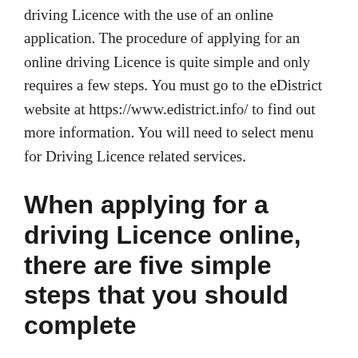driving Licence with the use of an online application. The procedure of applying for an online driving Licence is quite simple and only requires a few steps. You must go to the eDistrict website at https://www.edistrict.info/ to find out more information. You will need to select menu for Driving Licence related services.
When applying for a driving Licence online, there are five simple steps that you should complete
1. Registration through the internet
2. Completing the application form